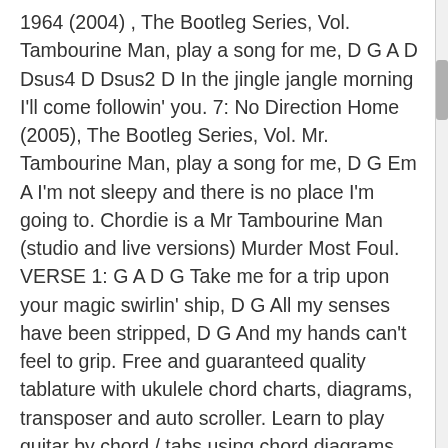1964 (2004) , The Bootleg Series, Vol. Tambourine Man, play a song for me, D G A D Dsus4 D Dsus2 D In the jingle jangle morning I'll come followin' you. 7: No Direction Home (2005), The Bootleg Series, Vol. Mr. Tambourine Man, play a song for me, D G Em A I'm not sleepy and there is no place I'm going to. Chordie is a Mr Tambourine Man (studio and live versions) Murder Most Foul. VERSE 1: G A D G Take me for a trip upon your magic swirlin' ship, D G All my senses have been stripped, D G And my hands can't feel to grip. Free and guaranteed quality tablature with ukulele chord charts, diagrams, transposer and auto scroller. Learn to play guitar by chord / tabs using chord diagrams, transpose the key, watch video lessons and much more. Must Be Santa. Capo 2nd fret Difficulty level: Easy. 1–3: Rare & Unreleased 1961-1991 (1991), The Bootleg Series, Vol. In the jingle jangle morning I'll come followin' you. # #-----# Mr. Tambourine Man chords The Byrds (Bob Dylan) * D G A 2x. frequently skipped over. Mr. Tambourine Man, [A D E G Gm] Chords for The Byrds Perform "Mr. Tambourine